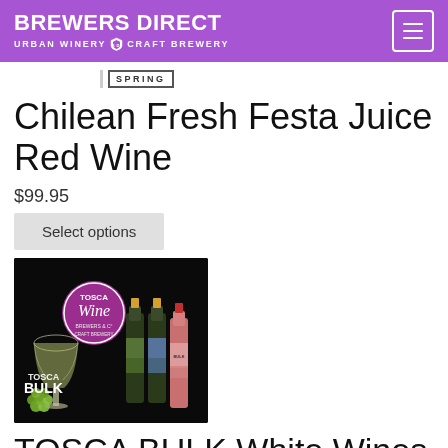BREWERS DIRECT URBAN WINERY CRAFT BREWERY
SPRING
Chilean Fresh Festa Juice Red Wine
$99.95
Select options
[Figure (photo): Tosca Wine product photo showing wine bottles labeled TOSCA BULK with wine glass and grapes on black background]
TOSCA BULK White Wines
$41.95